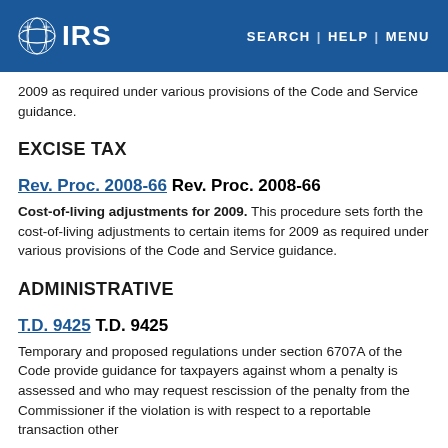IRS | SEARCH | HELP | MENU
2009 as required under various provisions of the Code and Service guidance.
EXCISE TAX
Rev. Proc. 2008-66 Rev. Proc. 2008-66
Cost-of-living adjustments for 2009. This procedure sets forth the cost-of-living adjustments to certain items for 2009 as required under various provisions of the Code and Service guidance.
ADMINISTRATIVE
T.D. 9425 T.D. 9425
Temporary and proposed regulations under section 6707A of the Code provide guidance for taxpayers against whom a penalty is assessed and who may request rescission of the penalty from the Commissioner if the violation is with respect to a reportable transaction other